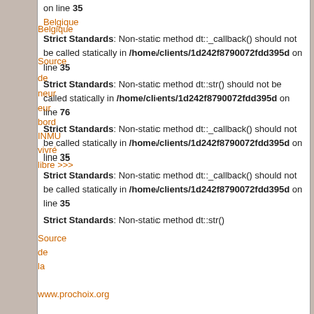on line 35
Belgique
Strict Standards: Non-static method dt::_callback() should not be called statically in /home/clients/1d242f8790072fdd395d on line 35
Strict Standards: Non-static method dt::str() should not be called statically in /home/clients/1d242f8790072fdd395d on line 76
Strict Standards: Non-static method dt::_callback() should not be called statically in /home/clients/1d242f8790072fdd395d on line 35
Strict Standards: Non-static method dt::_callback() should not be called statically in /home/clients/1d242f8790072fdd395d on line 35
Strict Standards: Non-static method dt::str()